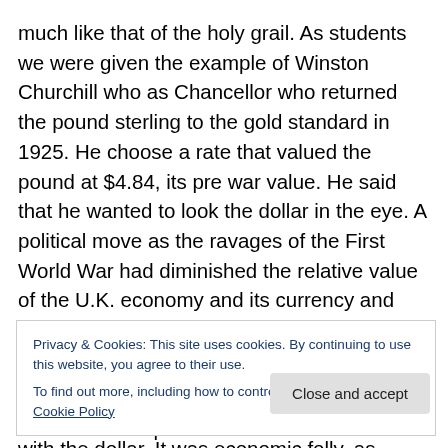much like that of the holy grail. As students we were given the example of Winston Churchill who as Chancellor who returned the pound sterling to the gold standard in 1925. He choose a rate that valued the pound at $4.84, its pre war value. He said that he wanted to look the dollar in the eye. A political move as the ravages of the First World War had diminished the relative value of the U.K. economy and its currency and had confirmed the USA as the world's leading economy. Consequently the dollar was now the world's strongest currency. Churchill wanted to put the pound on a par with the dollar. It was economic folly, as
Privacy & Cookies: This site uses cookies. By continuing to use this website, you agree to their use.
To find out more, including how to control cookies, see here: Cookie Policy
overall demand in the economy and so reduced the import